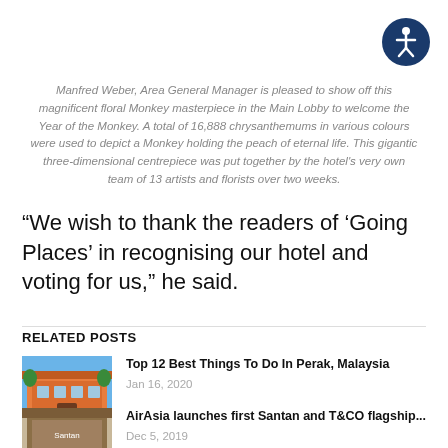[Figure (logo): Accessibility icon: dark blue circle with white wheelchair/person symbol]
Manfred Weber, Area General Manager is pleased to show off this magnificent floral Monkey masterpiece in the Main Lobby to welcome the Year of the Monkey. A total of 16,888 chrysanthemums in various colours were used to depict a Monkey holding the peach of eternal life. This gigantic three-dimensional centrepiece was put together by the hotel's very own team of 13 artists and florists over two weeks.
“We wish to thank the readers of ‘Going Places’ in recognising our hotel and voting for us,” he said.
RELATED POSTS
[Figure (photo): Colorful building facade photo - Top 12 Best Things To Do In Perak, Malaysia thumbnail]
Top 12 Best Things To Do In Perak, Malaysia
Jan 16, 2020
[Figure (photo): Santan restaurant photo thumbnail - AirAsia launches first Santan and T&CO flagship...]
AirAsia launches first Santan and T&CO flagship...
Dec 5, 2019